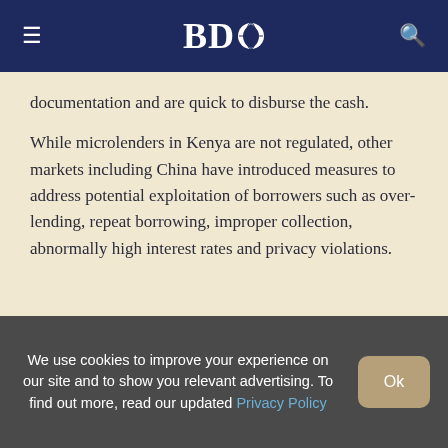BDO
documentation and are quick to disburse the cash.
While microlenders in Kenya are not regulated, other markets including China have introduced measures to address potential exploitation of borrowers such as over-lending, repeat borrowing, improper collection, abnormally high interest rates and privacy violations.
We use cookies to improve your experience on our site and to show you relevant advertising. To find out more, read our updated Privacy Policy